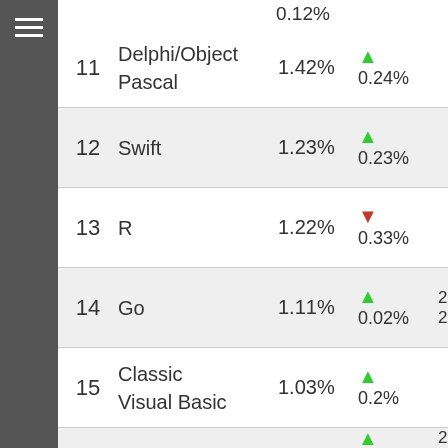| Rank | Language | Rating | Change | Year |
| --- | --- | --- | --- | --- |
|  |  | 0.12% |  |  |
| 11 | Delphi/Object Pascal | 1.42% | ▲ 0.24% |  |
| 12 | Swift | 1.23% | ▲ 0.23% |  |
| 13 | R | 1.22% | ▼ 0.33% |  |
| 14 | Go | 1.11% | ▲ 0.02% | 201 200 |
| 15 | Classic Visual Basic | 1.03% | ▲ 0.2% |  |